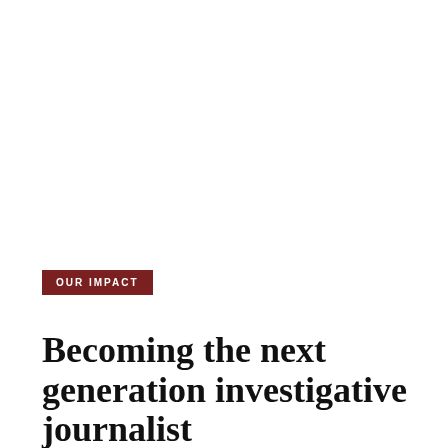OUR IMPACT
Becoming the next generation investigative journalist
Like the sound of any other healthy heartbeat, so did mine sound. Except that mine was louder and faster. And…